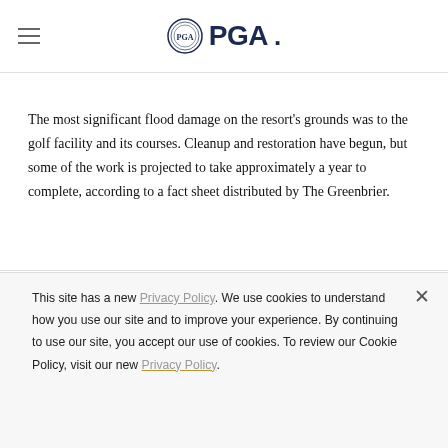PGA
The most significant flood damage on the resort's grounds was to the golf facility and its courses. Cleanup and restoration have begun, but some of the work is projected to take approximately a year to complete, according to a fact sheet distributed by The Greenbrier.
While The Greenbrier course will be ready for play in time for
This site has a new Privacy Policy. We use cookies to understand how you use our site and to improve your experience. By continuing to use our site, you accept our use of cookies. To review our Cookie Policy, visit our new Privacy Policy.